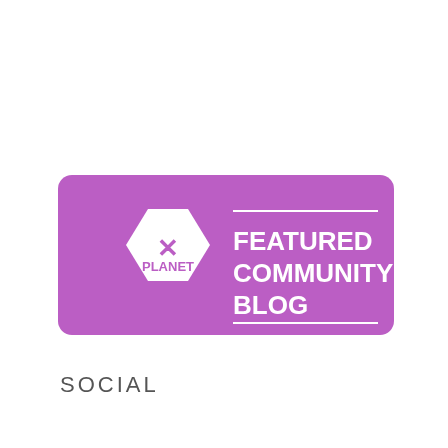[Figure (logo): Planet X logo badge on purple rounded rectangle background. Left side: white hexagon shape with purple 'X' graphic and 'PLANET' text. Right side: white text reading 'FEATURED COMMUNITY BLOG' with horizontal lines above and below, on purple background.]
SOCIAL